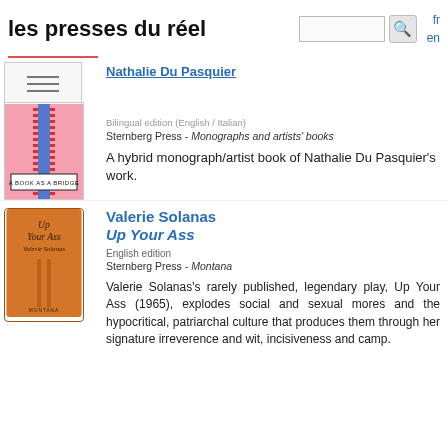les presses du réel
Nathalie Du Pasquier
Bilingual edition (English / Italian)
Sternberg Press - Monographs and artists' books
A hybrid monograph/artist book of Nathalie Du Pasquier's work.
Valerie Solanas
Up Your Ass
English edition
Sternberg Press - Montana
Valerie Solanas's rarely published, legendary play, Up Your Ass (1965), explodes social and sexual mores and the hypocritical, patriarchal culture that produces them through her signature irreverence and wit, incisiveness and camp.